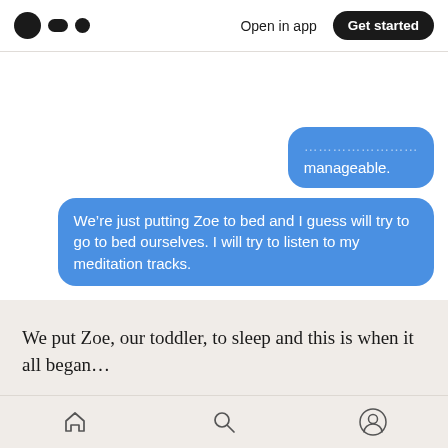Medium logo | Open in app | Get started
[Figure (screenshot): Two blue iMessage chat bubbles aligned to the right. First bubble (partially clipped at top): '...manageable.' Second bubble: 'We’re just putting Zoe to bed and I guess will try to go to bed ourselves. I will try to listen to my meditation tracks.']
We put Zoe, our toddler, to sleep and this is when it all began...
String had taken out his “get ready for labor” checklist that we put together during our Hypnobirthing class. He brought candles and
Home | Search | Profile